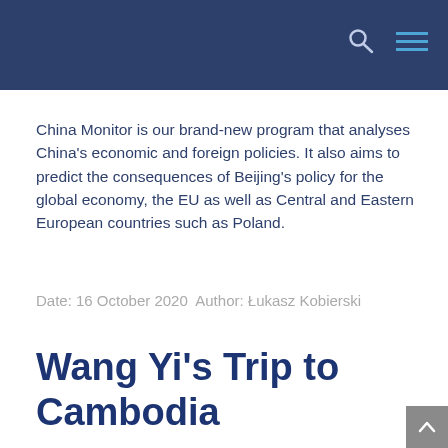China Monitor is our brand-new program that analyses China's economic and foreign policies. It also aims to predict the consequences of Beijing's policy for the global economy, the EU as well as Central and Eastern European countries such as Poland.
Date: 16 October 2020 Author: Łukasz Kobierski
Wang Yi's Trip to Cambodia